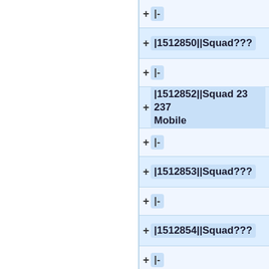+|-
+|1512850||Squad???
+|-
+|1512852||Squad 23 237 Mobile
+|-
+|1512853||Squad???
+|-
+|1512854||Squad???
+|-
+|1512855||Squad???
+|-
+|1512856||Squad???